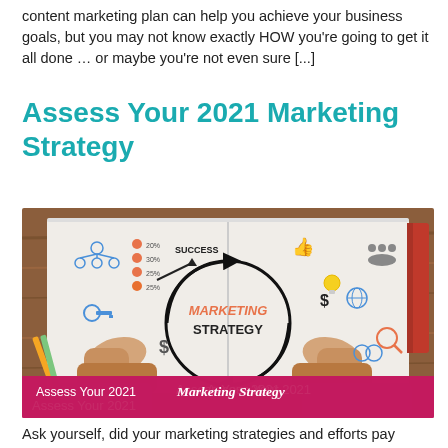content marketing plan can help you achieve your business goals, but you may not know exactly HOW you're going to get it all done … or maybe you're not even sure [...]
Assess Your 2021 Marketing Strategy
[Figure (photo): Photo of hands resting on an open notebook/journal with marketing strategy doodles and icons around a central circle reading 'MARKETING STRATEGY'. A pink overlay banner at the bottom reads 'Assess Your 2021 Marketing Strategy' in white text.]
Ask yourself, did your marketing strategies and efforts pay